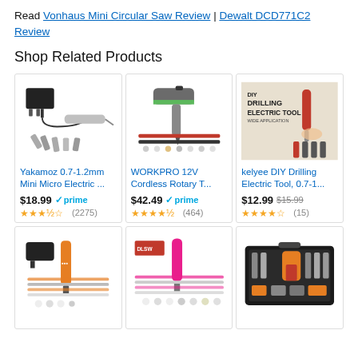Read Vonhaus Mini Circular Saw Review | Dewalt DCD771C2 Review
Shop Related Products
[Figure (photo): Yakamoz electric drill/engraver tool with power adapter and accessories]
Yakamoz 0.7-1.2mm Mini Micro Electric ...
$18.99 prime (2275 reviews, 3.5 stars)
[Figure (photo): WORKPRO 12V Cordless Rotary Tool with accessories]
WORKPRO 12V Cordless Rotary T...
$42.49 prime (464 reviews, 4.5 stars)
[Figure (photo): kelyee DIY Drilling Electric Tool advertisement image]
kelyee DIY Drilling Electric Tool, 0.7-1...
$12.99 $15.99 (15 reviews, 3.5 stars)
[Figure (photo): Orange cordless rotary tool with accessories]
[Figure (photo): Pink rotary tool with accessories]
[Figure (photo): Tool kit set in carrying case]